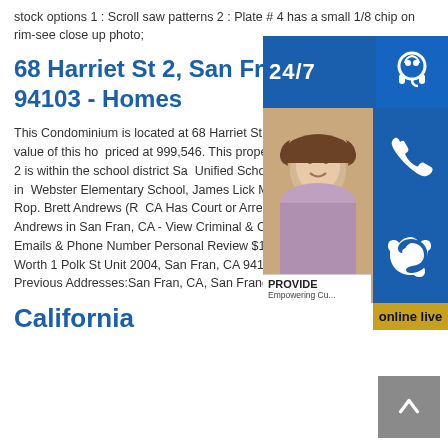stock options 1 : Scroll saw patterns 2 : Plate # 4 has a small 1/8 chip on rim-see close up photo;
68 Harriet St 2, San Francisco, 94103 - Homes
This Condominium is located at 68 Harriet St... Francisco, CA. The estimated value of this ho... priced at 999,546. This property was originally... 68 Harriet St 2 is within the school district Sa... Unified School District with nearby schools in... Webster Elementary School, James Lick Mid... San Francisco County Rop. Brett Andrews (R... CA Has Court or Arrest Check Reputation Sc... Andrews in San Fran, CA - View Criminal & Court Records Photos Address, Emails & Phone Number Personal Review $100 - $149,999 Income & Net Worth 1 Polk St Unit 2004, San Fran, CA 94102. See 11 Profile Searchers. Previous Addresses:San Fran, CA, San Francisco, CA.
California
[Figure (illustration): Advertisement overlay showing a 24/7 support widget with headset icon, a woman wearing a headset, phone icon, Skype icon, PROVIDE Empowering Customers text, online live button, and a back-to-top arrow button.]